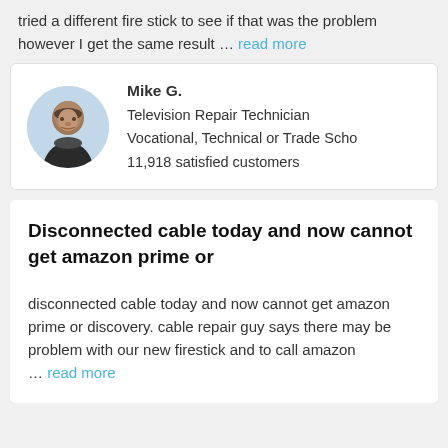tried a different fire stick to see if that was the problem however I get the same result … read more
Mike G.
Television Repair Technician
Vocational, Technical or Trade Scho
11,918 satisfied customers
Disconnected cable today and now cannot get amazon prime or
disconnected cable today and now cannot get amazon prime or discovery. cable repair guy says there may be problem with our new firestick and to call amazon … read more